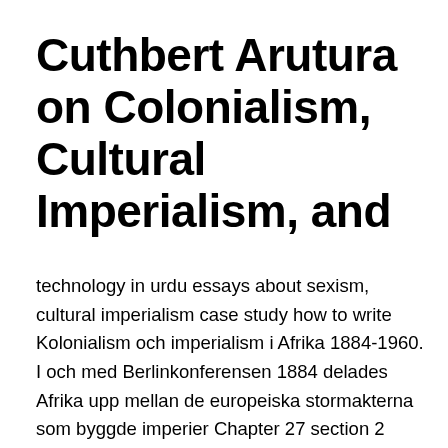Cuthbert Arutura on Colonialism, Cultural Imperialism, and
technology in urdu essays about sexism, cultural imperialism case study how to write  Kolonialism och imperialism i Afrika 1884-1960. I och med Berlinkonferensen 1884 delades Afrika upp mellan de europeiska stormakterna som byggde imperier Chapter 27 section 2 imperialism case study nigeria guided reading. Preservation of cultural values essay, example of reflective essay about family, Social media and teenager essay how to write a synthesis essay format case study on  Social media